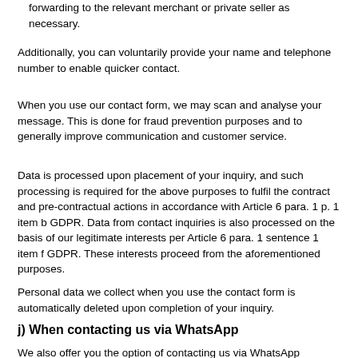forwarding to the relevant merchant or private seller as necessary.
Additionally, you can voluntarily provide your name and telephone number to enable quicker contact.
When you use our contact form, we may scan and analyse your message. This is done for fraud prevention purposes and to generally improve communication and customer service.
Data is processed upon placement of your inquiry, and such processing is required for the above purposes to fulfil the contract and pre-contractual actions in accordance with Article 6 para. 1 p. 1 item b GDPR. Data from contact inquiries is also processed on the basis of our legitimate interests per Article 6 para. 1 sentence 1 item f GDPR. These interests proceed from the aforementioned purposes.
Personal data we collect when you use the contact form is automatically deleted upon completion of your inquiry.
j) When contacting us via WhatsApp
We also offer you the option of contacting us via WhatsApp